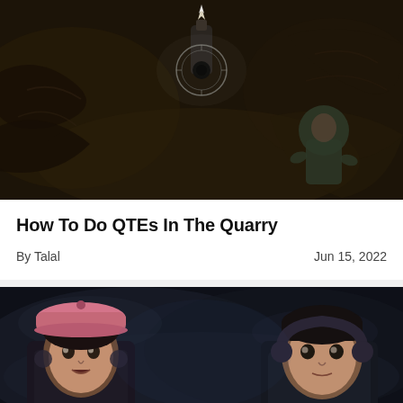[Figure (photo): Dark cave scene from The Quarry game with a gun barrel visible in center with a circular aiming reticle, and a character in a green shirt crouching in the background on the right side]
How To Do QTEs In The Quarry
By Talal   Jun 15, 2022
[Figure (photo): Two characters from The Quarry game facing forward in a dark, smoky atmosphere. Left character is a young woman wearing a pink cap, right character is a young man.]